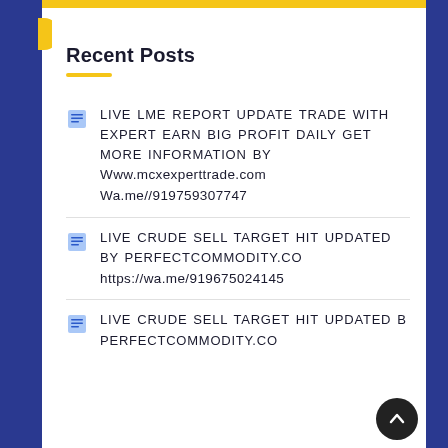Recent Posts
LIVE LME REPORT UPDATE TRADE WITH EXPERT EARN BIG PROFIT DAILY GET MORE INFORMATION BY Www.mcxexperttrade.com Wa.me//919759307747
LIVE CRUDE SELL TARGET HIT UPDATED BY PERFECTCOMMODITY.CO https://wa.me/919675024145
LIVE CRUDE SELL TARGET HIT UPDATED BY PERFECTCOMMODITY.CO